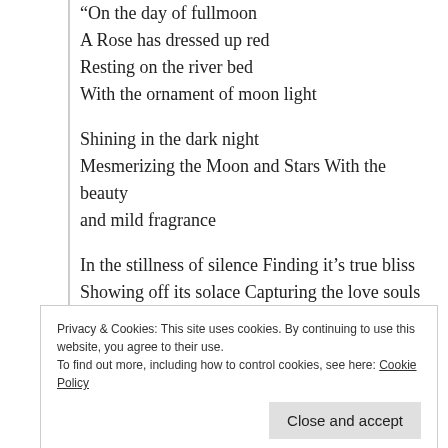“On the day of fullmoon
A Rose has dressed up red
Resting on the river bed
With the ornament of moon light

Shining in the dark night
Mesmerizing the Moon and Stars With the beauty and mild fragrance

In the stillness of silence Finding it’s true bliss
Showing off its solace Capturing the love souls
Privacy & Cookies: This site uses cookies. By continuing to use this website, you agree to their use.
To find out more, including how to control cookies, see here: Cookie Policy
Close and accept
Deep intense of desires